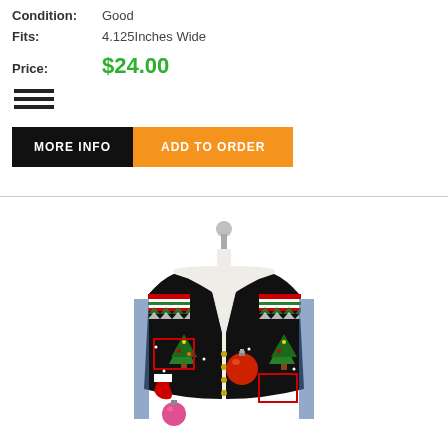Condition: Good
Fits: 4.125Inches Wide
Price: $24.00
[Figure (other): Hamburger menu icon (three horizontal bars)]
MORE INFO | ADD TO ORDER
[Figure (photo): Photo of a Christmas-themed knit sweater vest displayed on a mannequin. The vest is black with colorful holiday patterns including Christmas trees, ornament balls, stockings, and Nordic/Fair Isle stripe details at the shoulders in red, green, and white. The vest has button closures down the front.]